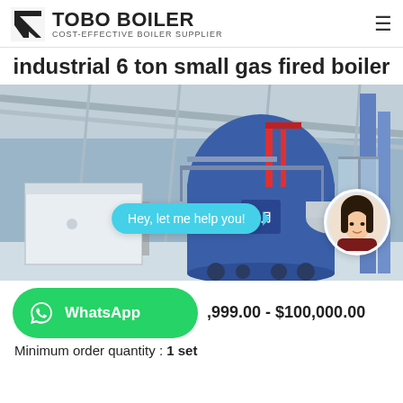[Figure (logo): TOBO BOILER logo with geometric icon and tagline COST-EFFECTIVE BOILER SUPPLIER]
industrial 6 ton small gas fired boiler
[Figure (photo): Industrial boiler room with large blue gas-fired boilers, piping, and steel structure ceiling. Overlay chat bubble saying 'Hey, let me help you!' and a circular avatar of a woman.]
[Figure (logo): WhatsApp green button with WhatsApp icon and text 'WhatsApp']
$999.00 - $100,000.00
Minimum order quantity : 1 set